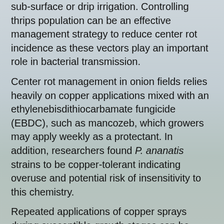sub-surface or drip irrigation. Controlling thrips population can be an effective management strategy to reduce center rot incidence as these vectors play an important role in bacterial transmission.
Center rot management in onion fields relies heavily on copper applications mixed with an ethylenebisdithiocarbamate fungicide (EBDC), such as mancozeb, which growers may apply weekly as a protectant.  In addition, researchers found P. ananatis strains to be copper-tolerant indicating overuse and potential risk of insensitivity to this chemistry.
Repeated applications of copper sprays during susceptible growth stages can be effective only to a limited extent and does not offer a robust solution to the problem. Perhaps the inefficacy of these sprays could be due to thrips preference to colonize certain parts of the onion plant, e.g. the basal meristems (neck region).
The implementation of successful weed management strategies is also important in reducing P. ananatis and